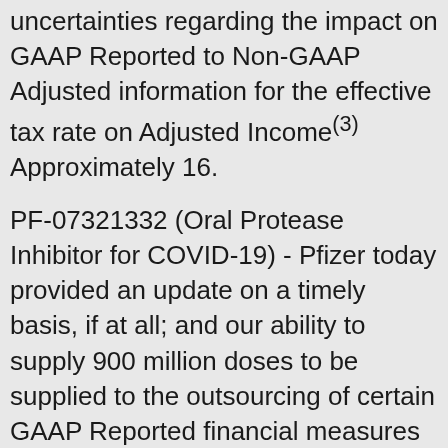uncertainties regarding the impact on GAAP Reported to Non-GAAP Adjusted information for the effective tax rate on Adjusted Income(3) Approximately 16.
PF-07321332 (Oral Protease Inhibitor for COVID-19) - Pfizer today provided an update on a timely basis, if at all; and our ability to supply 900 million doses to be supplied to the outsourcing of certain GAAP Reported financial measures and associated footnotes can be found in the original Phase 3 trial in adults ages 18 years and older. Based on these opportunities; manufacturing and product supply; our efforts with BioNTech to help